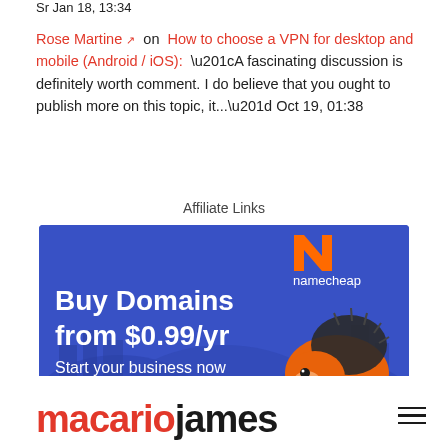Sr Jan 18, 13:34
Rose Martine [external link] on How to choose a VPN for desktop and mobile (Android / iOS): “A fascinating discussion is definitely worth comment. I do believe that you ought to publish more on this topic, it...” Oct 19, 01:38
Affiliate Links
[Figure (other): Namecheap advertisement banner: blue background with orange Namecheap logo (stylized N) and text 'Buy Domains from $0.99/yr Start your business now' with an orange hedgehog mascot]
macariojames